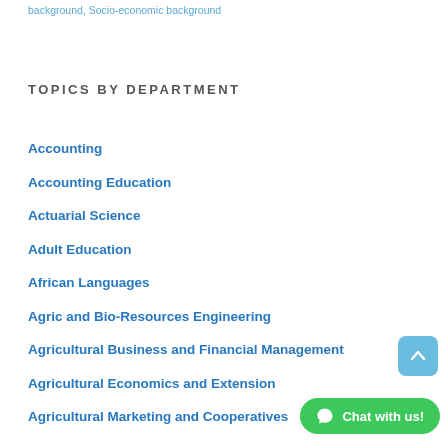background, Socio-economic background
TOPICS BY DEPARTMENT
Accounting
Accounting Education
Actuarial Science
Adult Education
African Languages
Agric and Bio-Resources Engineering
Agricultural Business and Financial Management
Agricultural Economics and Extension
Agricultural Marketing and Cooperatives